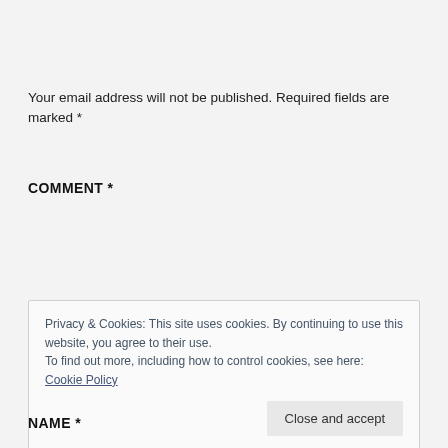Your email address will not be published. Required fields are marked *
COMMENT *
Privacy & Cookies: This site uses cookies. By continuing to use this website, you agree to their use.
To find out more, including how to control cookies, see here: Cookie Policy
NAME *